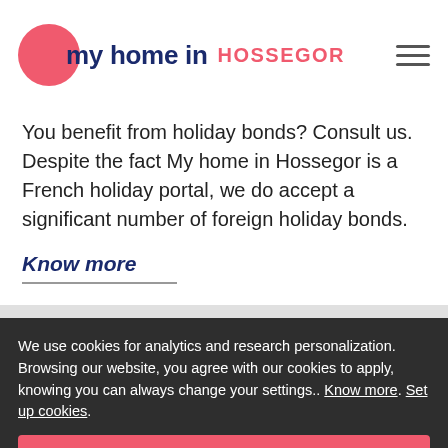my home in HOSSEGOR
You benefit from holiday bonds? Consult us. Despite the fact My home in Hossegor is a French holiday portal, we do accept a significant number of foreign holiday bonds.
Know more
We use cookies for analytics and research personalization. Browsing our website, you agree with our cookies to apply, knowing you can always change your settings.. Know more. Set up cookies.
Accept
there is nothing better than a 'Service à la Française' for